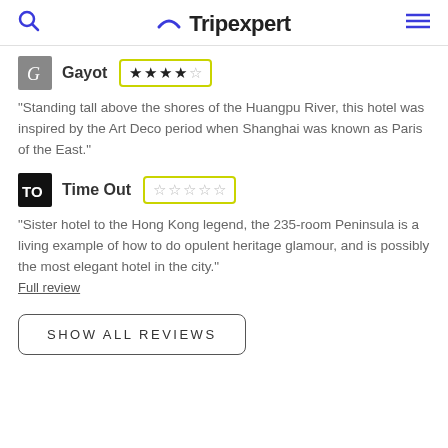Tripexpert
Gayot ★★★★☆
"Standing tall above the shores of the Huangpu River, this hotel was inspired by the Art Deco period when Shanghai was known as Paris of the East."
Time Out ☆☆☆☆☆
"Sister hotel to the Hong Kong legend, the 235-room Peninsula is a living example of how to do opulent heritage glamour, and is possibly the most elegant hotel in the city." Full review
SHOW ALL REVIEWS